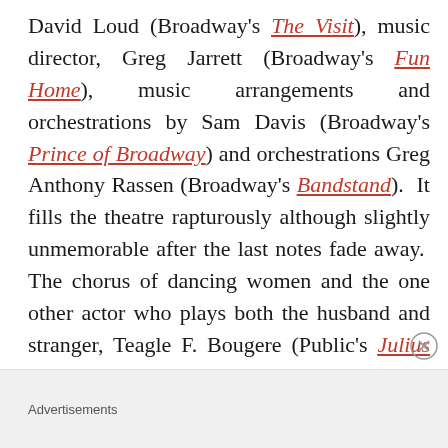David Loud (Broadway's The Visit), music director, Greg Jarrett (Broadway's Fun Home), music arrangements and orchestrations by Sam Davis (Broadway's Prince of Broadway) and orchestrations Greg Anthony Rassen (Broadway's Bandstand). It fills the theatre rapturously although slightly unmemorable after the last notes fade away. The chorus of dancing women and the one other actor who plays both the husband and stranger, Teagle F. Bougere (Public's Julius Caesar) rarely rise above the
Advertisements